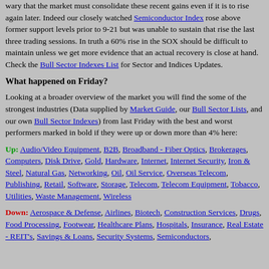wary that the market must consolidate these recent gains even if it is to rise again later. Indeed our closely watched Semiconductor Index rose above former support levels prior to 9-21 but was unable to sustain that rise the last three trading sessions. In truth a 60% rise in the SOX should be difficult to maintain unless we get more evidence that an actual recovery is close at hand. Check the Bull Sector Indexes List for Sector and Indices Updates.
What happened on Friday?
Looking at a broader overview of the market you will find the some of the strongest industries (Data supplied by Market Guide, our Bull Sector Lists, and our own Bull Sector Indexes) from last Friday with the best and worst performers marked in bold if they were up or down more than 4% here:
Up: Audio/Video Equipment, B2B, Broadband - Fiber Optics, Brokerages, Computers, Disk Drive, Gold, Hardware, Internet, Internet Security, Iron & Steel, Natural Gas, Networking, Oil, Oil Service, Overseas Telecom, Publishing, Retail, Software, Storage, Telecom, Telecom Equipment, Tobacco, Utilities, Waste Management, Wireless
Down: Aerospace & Defense, Airlines, Biotech, Construction Services, Drugs, Food Processing, Footwear, Healthcare Plans, Hospitals, Insurance, Real Estate - REIT's, Savings & Loans, Security Systems, Semiconductors,